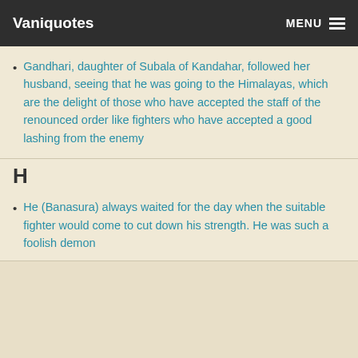Vaniquotes | MENU
Gandhari, daughter of Subala of Kandahar, followed her husband, seeing that he was going to the Himalayas, which are the delight of those who have accepted the staff of the renounced order like fighters who have accepted a good lashing from the enemy
H
He (Banasura) always waited for the day when the suitable fighter would come to cut down his strength. He was such a foolish demon